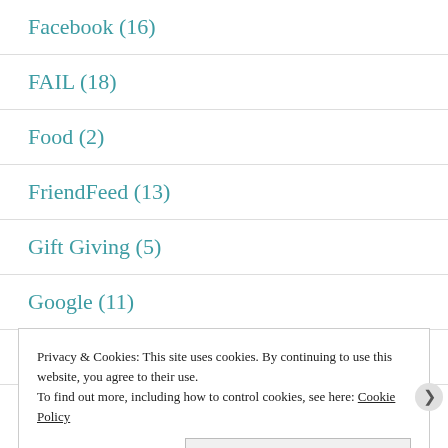Facebook (16)
FAIL (18)
Food (2)
FriendFeed (13)
Gift Giving (5)
Google (11)
Growth (14)
Privacy & Cookies: This site uses cookies. By continuing to use this website, you agree to their use.
To find out more, including how to control cookies, see here: Cookie Policy
Close and accept